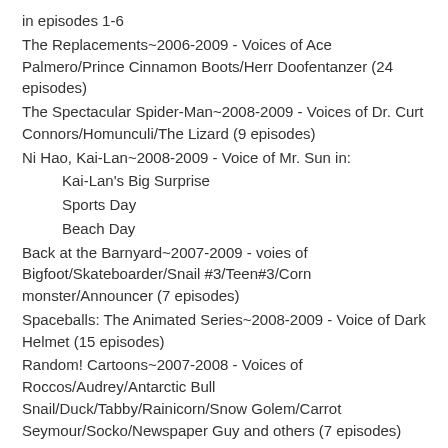in episodes 1-6
The Replacements~2006-2009 - Voices of Ace Palmero/Prince Cinnamon Boots/Herr Doofentanzer (24 episodes)
The Spectacular Spider-Man~2008-2009 - Voices of Dr. Curt Connors/Homunculi/The Lizard (9 episodes)
Ni Hao, Kai-Lan~2008-2009 - Voice of Mr. Sun in:
Kai-Lan's Big Surprise
Sports Day
Beach Day
Back at the Barnyard~2007-2009 - voies of Bigfoot/Skateboarder/Snail #3/Teen#3/Corn monster/Announcer (7 episodes)
Spaceballs: The Animated Series~2008-2009 - Voice of Dark Helmet (15 episodes)
Random! Cartoons~2007-2008 - Voices of Roccos/Audrey/Antarctic Bull Snail/Duck/Tabby/Rainicorn/Snow Golem/Carrot Seymour/Socko/Newspaper Guy and others (7 episodes)
Making Friends~2008 - Voice of Pony in Pony
Avatar: The Last Airbender~2005-2008 - Voices of Appa/Momo and others (60 episodes)